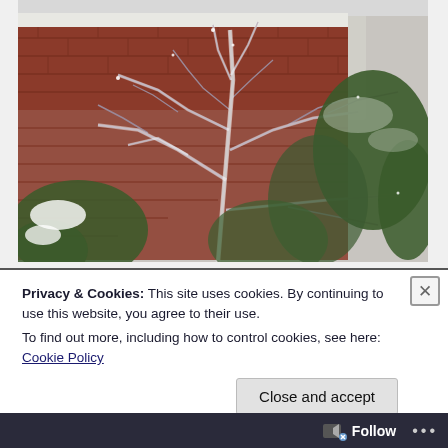[Figure (photo): A frost-covered tree or shrub with bare, ice-encrusted branches in front of a red brick house wall and white eaves/gutters. Other green shrubs are visible in the background, also dusted with frost or snow. A small patch of white snow is visible at lower left.]
Privacy & Cookies: This site uses cookies. By continuing to use this website, you agree to their use.
To find out more, including how to control cookies, see here: Cookie Policy
Follow ...